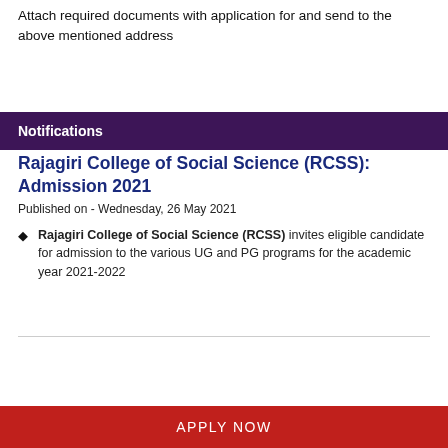Attach required documents with application for and send to the above mentioned address
Notifications
Rajagiri College of Social Science (RCSS): Admission 2021
Published on - Wednesday, 26 May 2021
Rajagiri College of Social Science (RCSS) invites eligible candidate for admission to the various UG and PG programs for the academic year 2021-2022
APPLY NOW